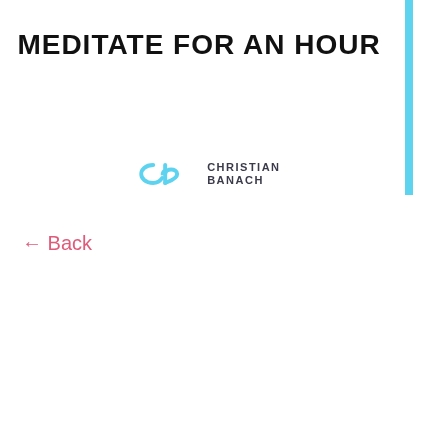MEDITATE FOR AN HOUR
[Figure (logo): Christian Banach logo with stylized 'cb' icon in light blue and text 'CHRISTIAN BANACH' in dark gray]
← Back